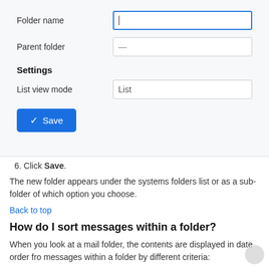[Figure (screenshot): UI form showing Folder name input (active, blue border with cursor), Parent folder input (showing dash), Settings section header, List view mode dropdown showing 'List', and a blue Save button with checkmark.]
6. Click Save.
The new folder appears under the systems folders list or as a sub-folder of which option you choose.
Back to top
How do I sort messages within a folder?
When you look at a mail folder, the contents are displayed in date order from messages within a folder by different criteria:
1. Click the folder name in the Mail folder list.